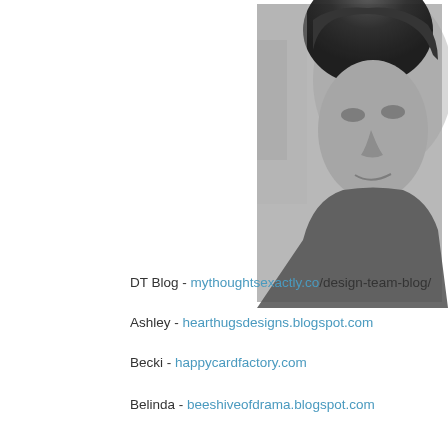[Figure (photo): Black and white portrait photo of a man with curly hair, partial face visible, cropped at right edge of page]
DT Blog - mythoughtsexactly.co/design-team-blog/
Ashley - hearthugsdesigns.blogspot.com
Becki - happycardfactory.com
Belinda - beeshiveofdrama.blogspot.com